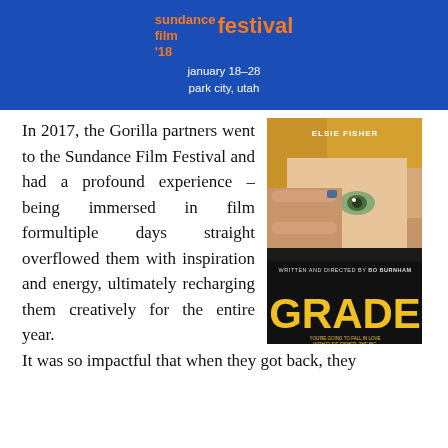[Figure (logo): Sundance Film Festival '18 logo — orange text on blue banner background. Text reads: sundance film '18 festival, january 18-28, park city, utah]
In 2017, the Gorilla partners went to the Sundance Film Festival and had a profound experience – being immersed in film formultiple days straight overflowed them with inspiration and energy, ultimately recharging them creatively for the entire year. It was so impactful that when they got back, they
[Figure (photo): Movie poster for 'Eighth Grade' featuring Elsie Fisher. Large yellow text reads EIGHTH GRADE. Written and directed by Bo Burnham. Tagline: YOU'RE GOING TO FALL IN LOVE WITH ELSIE FISHER, THE BIG BEATING HEART OF 'EIGHTH GRADE'. Coming Soon 4.21.]